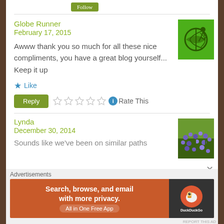Globe Runner
February 17, 2015
Awww thank you so much for all these nice compliments, you have a great blog yourself... Keep it up
Like
Reply
Rate This
[Figure (illustration): Green avatar icon with globe runner logo]
Lynda
December 30, 2014
[Figure (photo): Photo of purple wildflowers in a field]
Sounds like we've been on similar paths
Advertisements
[Figure (other): DuckDuckGo advertisement banner: Search, browse, and email with more privacy. All in One Free App]